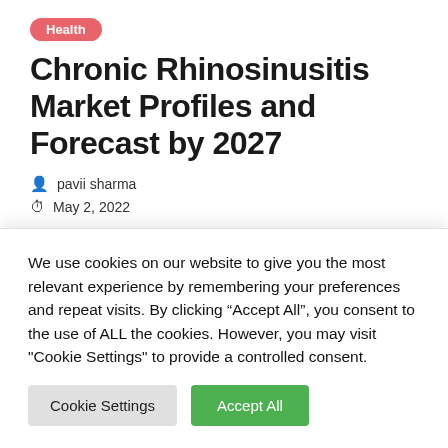Health
Chronic Rhinosinusitis Market Profiles and Forecast by 2027
pavii sharma
May 2, 2022
Chronic Rhinosinusitis Market Report mainly improves market size,and provide detailed product mapping and investigation of various
We use cookies on our website to give you the most relevant experience by remembering your preferences and repeat visits. By clicking “Accept All”, you consent to the use of ALL the cookies. However, you may visit "Cookie Settings" to provide a controlled consent.
Cookie Settings
Accept All